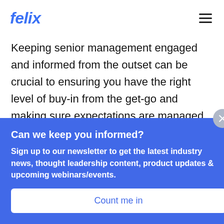felix
Keeping senior management engaged and informed from the outset can be crucial to ensuring you have the right level of buy-in from the get-go and making sure expectations are managed and well aligned throughout the
Can we keep you informed?
Sign up to our newsletter to get the latest industry news, thought leadership content, product updates & upcoming webinars/events.
Count me in